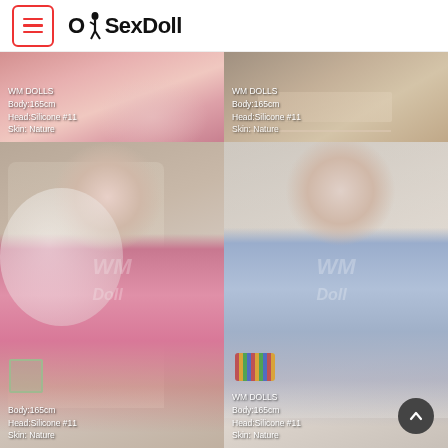OhSexDoll
[Figure (photo): Top-left: partial photo of a sex doll in a pink dress, showing lower body/fabric. Overlay text: WM DOLLS / Body:165cm / Head:Silicone #11 / Skin: Nature]
[Figure (photo): Top-right: partial photo of a sex doll on a bed, showing legs. Overlay text: WM DOLLS / Body:165cm / Head:Silicone #11 / Skin: Nature]
[Figure (photo): Bottom-left: full photo of sex doll in pink dress seated in chair with fur throw. WM Doll watermark. Overlay text: Body:165cm / Head:Silicone #11 / Skin: Nature]
[Figure (photo): Bottom-right: full photo of sex doll in blue dress on sofa/bed. WM Doll watermark. Overlay text: WM DOLLS / Body:165cm / Head:Silicone #11 / Skin: Nature]